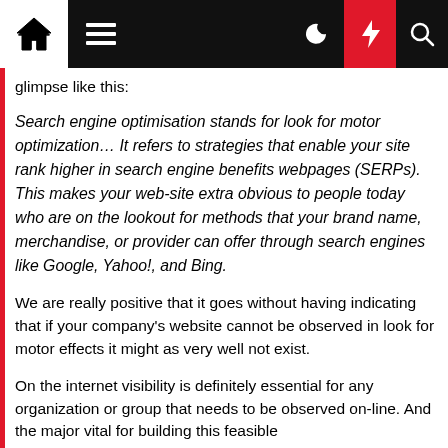[Navigation bar with home icon, hamburger menu, moon icon, lightning bolt (red), and search icon]
glimpse like this:
Search engine optimisation stands for look for motor optimization… It refers to strategies that enable your site rank higher in search engine benefits webpages (SERPs). This makes your web-site extra obvious to people today who are on the lookout for methods that your brand name, merchandise, or provider can offer through search engines like Google, Yahoo!, and Bing.
We are really positive that it goes without having indicating that if your company's website cannot be observed in look for motor effects it might as very well not exist.
On the internet visibility is definitely essential for any organization or group that needs to be observed on-line. And the major vital for building this feasible